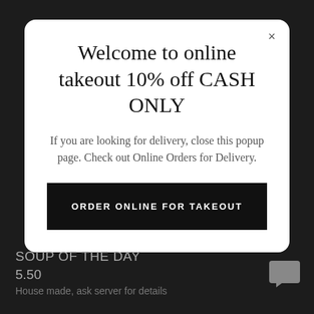Welcome to online takeout 10% off CASH ONLY
If you are looking for delivery, close this popup page. Check out Online Orders for Delivery.
ORDER ONLINE FOR TAKEOUT
SOUP OF THE DAY
5.50
House made, ask server for details